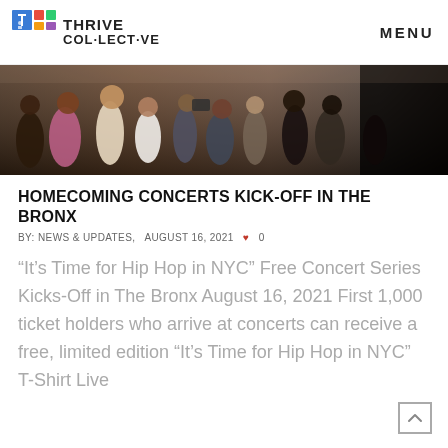THRIVE COLLECTIVE | MENU
[Figure (photo): Crowd of people at a hip hop concert event, photographed outdoors, showing people holding cameras and phones]
HOMECOMING CONCERTS KICK-OFF IN THE BRONX
BY: NEWS & UPDATES,   AUGUST 16, 2021  ♥ 0
“It’s Time for Hip Hop in NYC” Free Concert Series Kicks-Off in The Bronx August 16, 2021 First 1,000 ticket holders who arrive at concerts can receive a free, limited edition “It’s Time for Hip Hop in NYC” T-Shirt Live